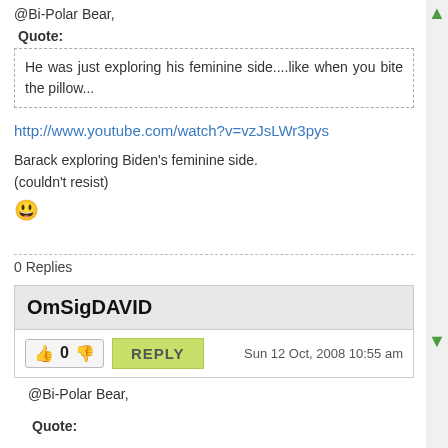@Bi-Polar Bear,
Quote:
He was just exploring his feminine side....like when you bite the pillow...
http://www.youtube.com/watch?v=vzJsLWr3pys
Barack exploring Biden's feminine side.
(couldn't resist)
0 Replies
OmSigDAVID
0
REPLY
Sun 12 Oct, 2008 10:55 am
@Bi-Polar Bear,
Quote: